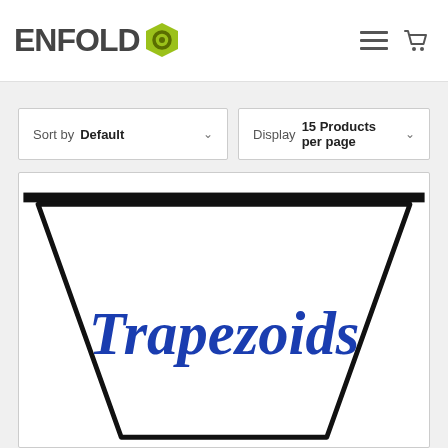ENFOLD
Sort by Default
Display 15 Products per page
[Figure (illustration): A trapezoid shape drawn with black outline on white background, with italic bold blue text 'Trapezoids' in the center. The shape is a wide trapezoid wider at top than bottom.]